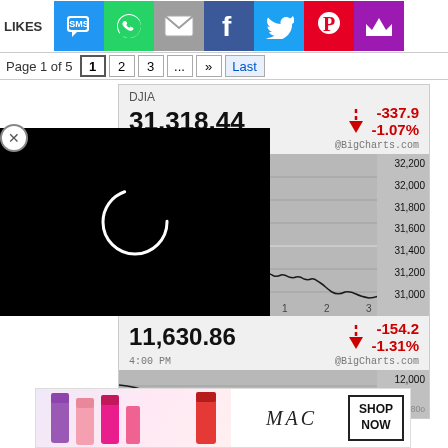[Figure (screenshot): Social sharing bar with LIKES label and icons: SMS (blue), WhatsApp (green), Email (gray), Facebook (dark blue), Twitter (light blue), Pinterest (red), Crown (purple)]
[Figure (screenshot): Pagination: Page 1 of 5, buttons 1 (active), 2, 3, ..., >>, Last]
[Figure (continuous-plot): DJIA stock chart showing 31,318.44, down -337.9 / -1.07% at 4:00 PM. Chart shows intraday price action from approximately 32,200 down to 31,000 range. Y-axis: 32,200; 32,000; 31,800; 31,600; 31,400; 31,200; 31,000. X-axis labels: 1, 2, 3. Source: @BigCharts.com]
[Figure (screenshot): Video overlay on left side showing black screen with white loading spinner circle and X close button]
[Figure (continuous-plot): Second stock value: 11,630.86, down -154.2 / -1.31% at 4:00 PM. @BigCharts.com. Chart partially visible showing around 12,000 to 11,800 range. CLOSE button visible.]
[Figure (advertisement): MAC cosmetics ad with lipsticks in purple, pink shades and SHOP NOW button]